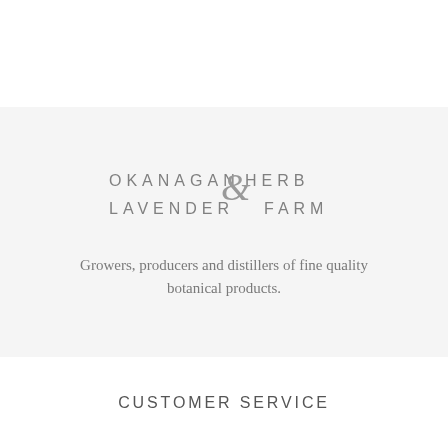[Figure (logo): Okanagan Lavender & Herb Farm logo in grey text with a decorative ampersand]
Growers, producers and distillers of fine quality botanical products.
CUSTOMER SERVICE